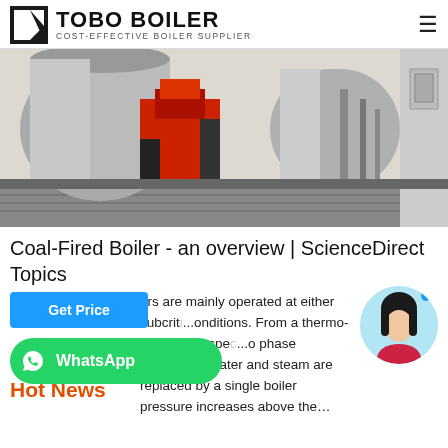TOBO BOILER — COST-EFFECTIVE BOILER SUPPLIER
[Figure (photo): Industrial boiler equipment in a facility — large cylindrical boiler with red burner assembly and piping]
Coal-Fired Boiler - an overview | ScienceDirect Topics
ers are mainly operated at either subcrit...onditions. From a thermo-physics perspe...o phase mixtures of water and steam are replaced by a single boiler pressure increases above the…
Get Price
WhatsApp
Hot News